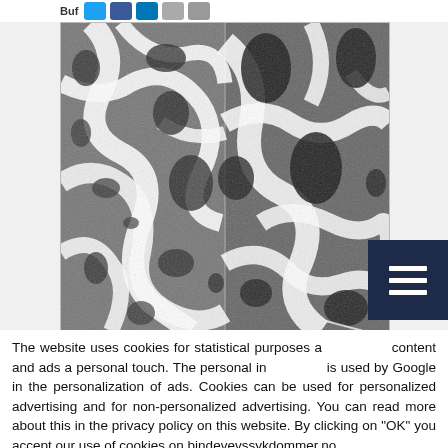[Figure (photo): Side-by-side electron microscopy images of bone tissue/connective tissue structure showing trabecular bone network in grayscale. Left and right panels show similar spongy bone architecture at high magnification.]
The website uses cookies for statistical purposes and to give content and ads a personal touch. The personal information is used by Google in the personalization of ads. Cookies can be used for personalized advertising and for non-personalized advertising. You can read more about this in the privacy policy on this website. By clicking on "OK" you accept our use of cookies on bindevevssykdommer.no ..
Cookie settings
OK